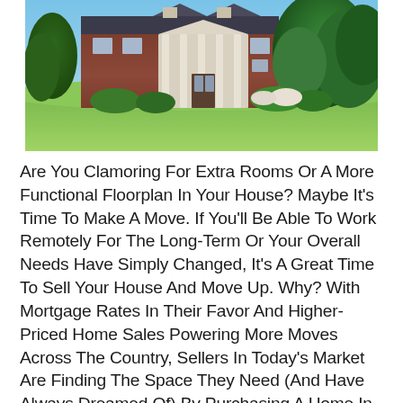[Figure (photo): Large colonial/Georgian style brick mansion with white columns, green lawn, and trees in the background under a blue sky.]
Are You Clamoring For Extra Rooms Or A More Functional Floorplan In Your House? Maybe It's Time To Make A Move. If You'll Be Able To Work Remotely For The Long-Term Or Your Overall Needs Have Simply Changed, It's A Great Time To Sell Your House And Move Up. Why? With Mortgage Rates In Their Favor And Higher-Priced Home Sales Powering More Moves Across The Country, Sellers In Today's Market Are Finding The Space They Need (And Have Always Dreamed Of) By Purchasing A Home In The Upper End Of The Housing Market.